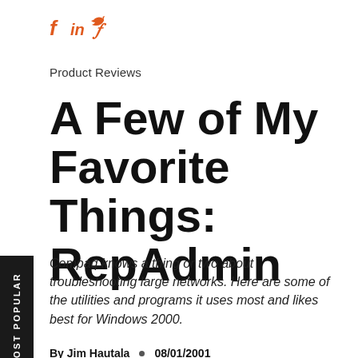[Figure (infographic): Social media icons: Facebook (f), LinkedIn (in), Twitter (bird) in orange]
Product Reviews
A Few of My Favorite Things: RepAdmin
Compaq knows a thing or two about troubleshooting large networks. Here are some of the utilities and programs it uses most and likes best for Windows 2000.
By Jim Hautala  08/01/2001
While it's not the most famous tool for AD administration in Win2K, the command-line utility RepAdmin, available in the Support